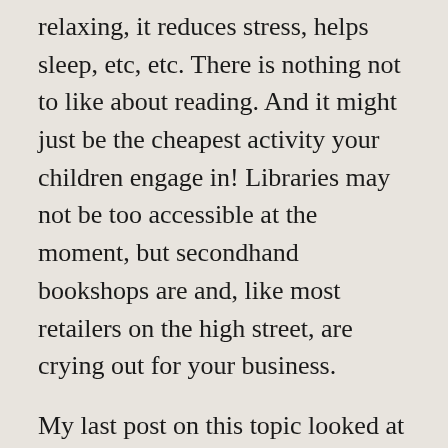relaxing, it reduces stress, helps sleep, etc, etc. There is nothing not to like about reading. And it might just be the cheapest activity your children engage in! Libraries may not be too accessible at the moment, but secondhand bookshops are and, like most retailers on the high street, are crying out for your business.
My last post on this topic looked at books for 4-7 year olds and I emphasised the fact that at that age, there may well be some precocious readers who can cope with chapter books (particularly at the older end of the spectrum), but they still benefit hugely from pictures. By the time we get to the 6-8 year olds they are generally moving out of the 'infant' and into the 'junior' stages at school (or years two to